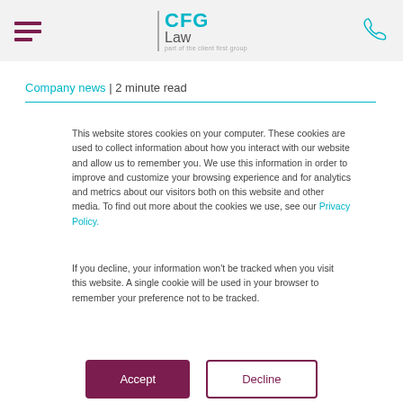CFG Law | part of the client first group
Company news | 2 minute read
This website stores cookies on your computer. These cookies are used to collect information about how you interact with our website and allow us to remember you. We use this information in order to improve and customize your browsing experience and for analytics and metrics about our visitors both on this website and other media. To find out more about the cookies we use, see our Privacy Policy.
If you decline, your information won't be tracked when you visit this website. A single cookie will be used in your browser to remember your preference not to be tracked.
Accept | Decline